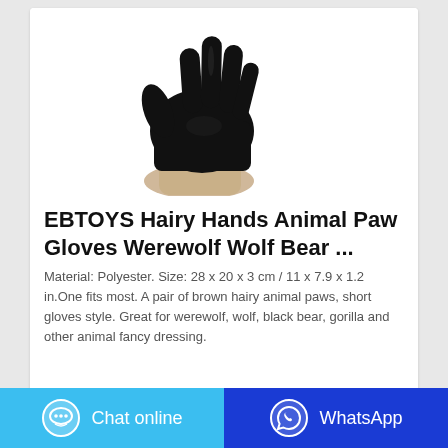[Figure (photo): A black nitrile/latex glove worn on a hand, fingers spread, photographed on white background.]
EBTOYS Hairy Hands Animal Paw Gloves Werewolf Wolf Bear ...
Material: Polyester. Size: 28 x 20 x 3 cm / 11 x 7.9 x 1.2 in.One fits most. A pair of brown hairy animal paws, short gloves style. Great for werewolf, wolf, black bear, gorilla and other animal fancy dressing.
Chat online
WhatsApp